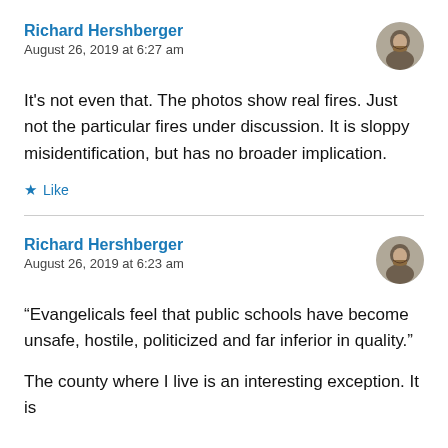Richard Hershberger
August 26, 2019 at 6:27 am
It's not even that. The photos show real fires. Just not the particular fires under discussion. It is sloppy misidentification, but has no broader implication.
Like
Richard Hershberger
August 26, 2019 at 6:23 am
“Evangelicals feel that public schools have become unsafe, hostile, politicized and far inferior in quality.”
The county where I live is an interesting exception. It is